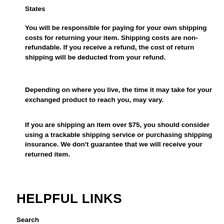States
You will be responsible for paying for your own shipping costs for returning your item. Shipping costs are non-refundable. If you receive a refund, the cost of return shipping will be deducted from your refund.
Depending on where you live, the time it may take for your exchanged product to reach you, may vary.
If you are shipping an item over $75, you should consider using a trackable shipping service or purchasing shipping insurance. We don't guarantee that we will receive your returned item.
HELPFUL LINKS
Search